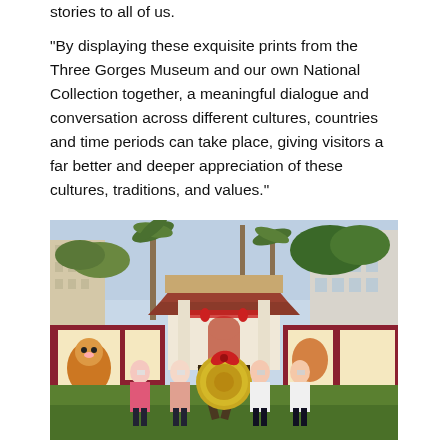stories to all of us.
"By displaying these exquisite prints from the Three Gorges Museum and our own National Collection together, a meaningful dialogue and conversation across different cultures, countries and time periods can take place, giving visitors a far better and deeper appreciation of these cultures, traditions, and values."
[Figure (photo): Four people wearing face masks standing outdoors in front of a traditional Chinese-style building with red decorations. They are posing around a large gong with a red bow. Colorful folk art prints are displayed on dark red walls on either side. Tall palm trees and modern apartment buildings are visible in the background.]